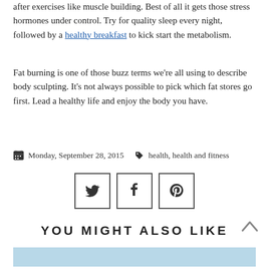after exercises like muscle building. Best of all it gets those stress hormones under control. Try for quality sleep every night, followed by a healthy breakfast to kick start the metabolism.
Fat burning is one of those buzz terms we’re all using to describe body sculpting. It’s not always possible to pick which fat stores go first. Lead a healthy life and enjoy the body you have.
Monday, September 28, 2015  health, health and fitness
[Figure (infographic): Three social sharing buttons: Twitter, Facebook, Pinterest]
YOU MIGHT ALSO LIKE
[Figure (photo): Partial image strip at bottom of page]